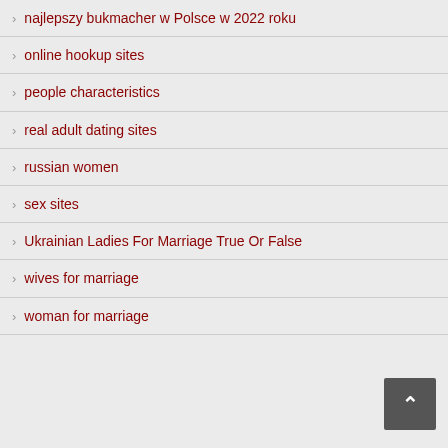najlepszy bukmacher w Polsce w 2022 roku
online hookup sites
people characteristics
real adult dating sites
russian women
sex sites
Ukrainian Ladies For Marriage True Or False
wives for marriage
woman for marriage